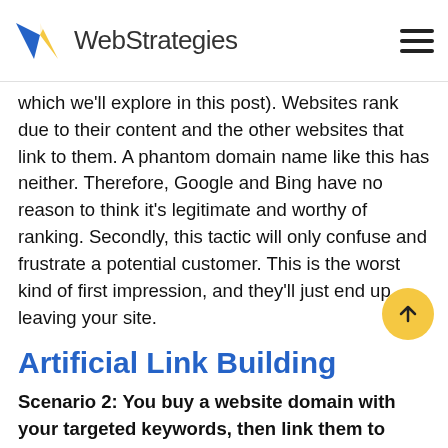WebStrategies
which we'll explore in this post). Websites rank due to their content and the other websites that link to them. A phantom domain name like this has neither. Therefore, Google and Bing have no reason to think it's legitimate and worthy of ranking. Secondly, this tactic will only confuse and frustrate a potential customer. This is the worst kind of first impression, and they'll just end up leaving your site.
Artificial Link Building
Scenario 2: You buy a website domain with your targeted keywords, then link them to your site.
In this example, you are basically buying links to your website. Google and Bing treat links to your website as